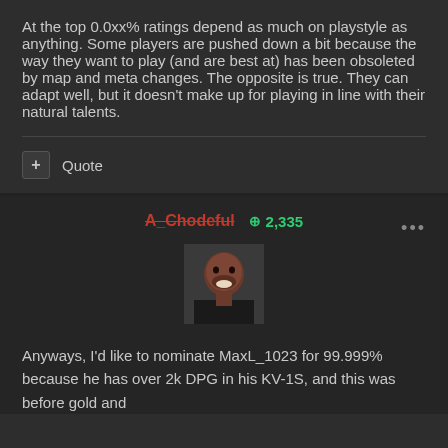At the top 0.0xx% ratings depend as much on playstyle as anything. Some players are pushed down a bit because the way they want to play (and are best at) has been obsoleted by map and meta changes. The opposite is true. They can adapt well, but it doesn't make up for playing in line with their natural talents.
Quote
A_Chodeful  ⊕ 2,335
[Figure (photo): User avatar photo showing a man in a black shirt smiling]
Anyways, I'd like to nominate MaxL_1023 for 99.999% because he has over 2k DPG in his KV-1S, and this was before gold and butter MM...